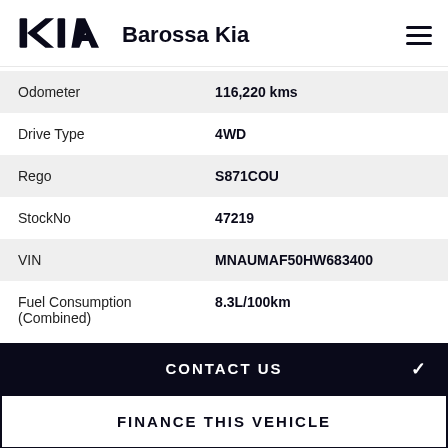[Figure (logo): Kia logo - black stylized KIA lettering]
Barossa Kia
| Field | Value |
| --- | --- |
| Odometer | 116,220 kms |
| Drive Type | 4WD |
| Rego | S871COU |
| StockNo | 47219 |
| VIN | MNAUMAF50HW683400 |
| Fuel Consumption (Combined) | 8.3L/100km |
CONTACT US
FINANCE THIS VEHICLE